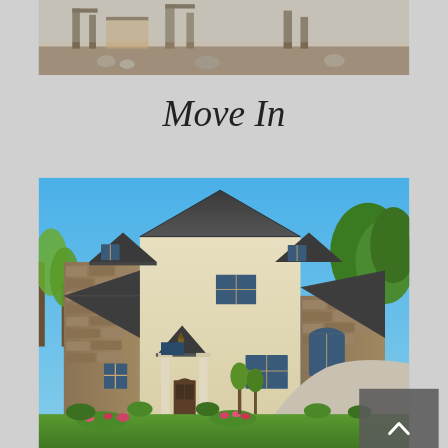[Figure (photo): Partial view of a house under construction with framing visible, outdoor setting with dirt/gravel ground.]
Move In
[Figure (photo): Completed two-story luxury home with stone and stucco exterior, dark shingled roof with multiple gable peaks, columns at entrance, lush landscaping and blue sky.]